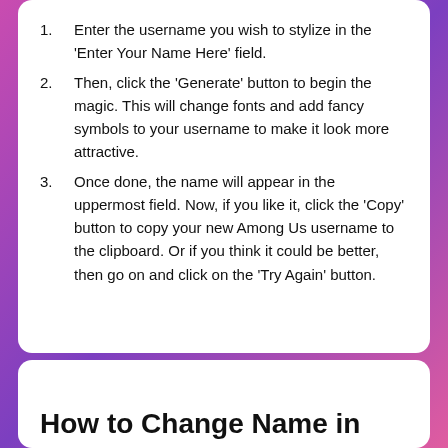Enter the username you wish to stylize in the 'Enter Your Name Here' field.
Then, click the 'Generate' button to begin the magic. This will change fonts and add fancy symbols to your username to make it look more attractive.
Once done, the name will appear in the uppermost field. Now, if you like it, click the 'Copy' button to copy your new Among Us username to the clipboard. Or if you think it could be better, then go on and click on the 'Try Again' button.
How to Change Name in